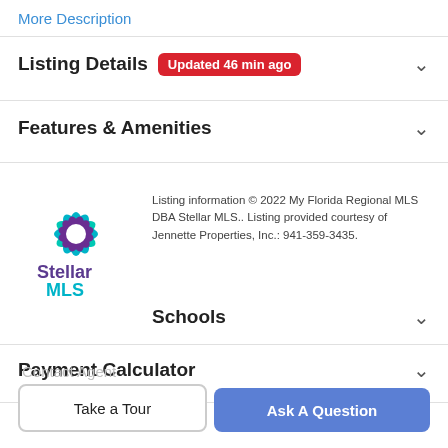More Description
Listing Details Updated 46 min ago
Features & Amenities
[Figure (logo): Stellar MLS logo with decorative star in teal and purple colors]
Listing information © 2022 My Florida Regional MLS DBA Stellar MLS.. Listing provided courtesy of Jennette Properties, Inc.: 941-359-3435.
Schools
Payment Calculator
Contact Agent
Take a Tour
Ask A Question